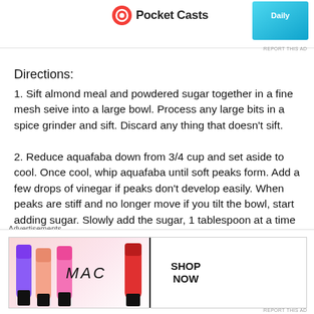[Figure (logo): Pocket Casts logo with icon and text]
[Figure (screenshot): Advertisement banner top right - blue/teal colored ad]
Directions:
1. Sift almond meal and powdered sugar together in a fine mesh seive into a large bowl. Process any large bits in a spice grinder and sift. Discard any thing that doesn't sift.
2. Reduce aquafaba down from 3/4 cup and set aside to cool. Once cool, whip aquafaba until soft peaks form. Add a few drops of vinegar if peaks don't develop easily. When peaks are stiff and no longer move if you tilt the bowl, start adding sugar. Slowly add the sugar, 1 tablespoon at a time and continue whipping until mixture is shiny and thick. It should be almost like marshmallow fluff, so this could take
Advertisements
[Figure (screenshot): MAC cosmetics advertisement showing lipsticks with MAC logo and SHOP NOW button]